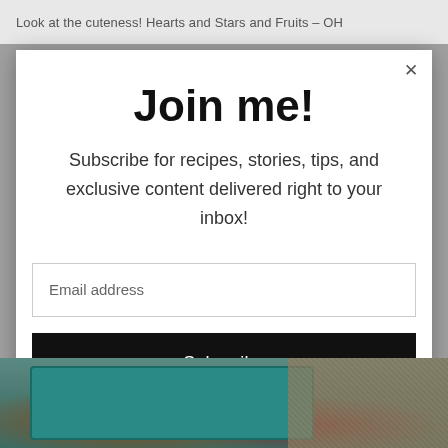Look at the cuteness! Hearts and Stars and Fruits – OH
Join me!
Subscribe for recipes, stories, tips, and exclusive content delivered right to your inbox!
Email address
Subscribe
[Figure (photo): Bottom portion of a photo showing a teal/green lunch box container on a burlap surface with berries]